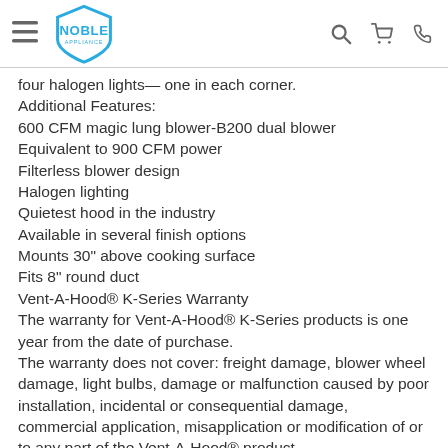Noble Appliance
four halogen lights— one in each corner.
Additional Features:
600 CFM magic lung blower-B200 dual blower
Equivalent to 900 CFM power
Filterless blower design
Halogen lighting
Quietest hood in the industry
Available in several finish options
Mounts 30" above cooking surface
Fits 8" round duct
Vent-A-Hood® K-Series Warranty
The warranty for Vent-A-Hood® K-Series products is one year from the date of purchase.
The warranty does not cover: freight damage, blower wheel damage, light bulbs, damage or malfunction caused by poor installation, incidental or consequential damage, commercial application, misapplication or modification of or to any part of the Vent-A-Hood® product
Available in various colors.
Helpful Documents